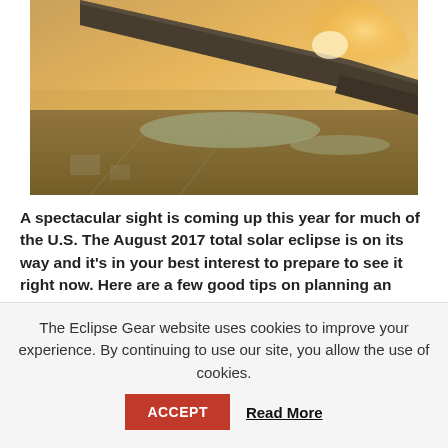[Figure (photo): Aerial view from airplane window showing the wing tip against a warm golden sunset sky, with a landscape of land and water below.]
A spectacular sight is coming up this year for much of the U.S. The August 2017 total solar eclipse is on its way and it's in your best interest to prepare to see it right now. Here are a few good tips on planning an unforgettable vacation to see one of nature's great wonders.
The Eclipse Gear website uses cookies to improve your experience. By continuing to use our site, you allow the use of cookies.